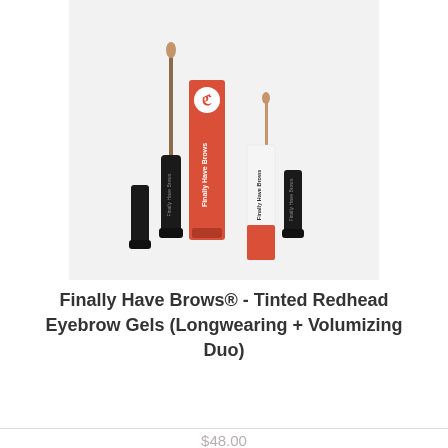[Figure (photo): Product photo showing two sets of Finally Have Brows eyebrow gel products. Left set has a larger black tube with applicator wand and a red/orange branded box. Right set has a smaller tube with applicator wand and a white/red branded box. Both boxes read 'Finally Have Brows' in white text on red background. Background is light gray.]
Finally Have Brows® - Tinted Redhead Eyebrow Gels (Longwearing + Volumizing Duo)
$48.00